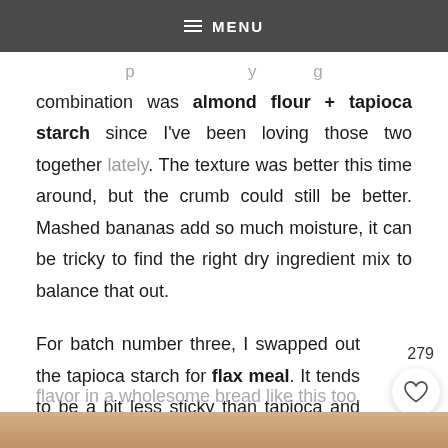MENU
combination was almond flour + tapioca starch since I've been loving those two together lately. The texture was better this time around, but the crumb could still be better. Mashed bananas add so much moisture, it can be tricky to find the right dry ingredient mix to balance that out.
For batch number three, I swapped out the tapioca starch for flax meal. It tends to be a bit less sticky than tapioca and usually easier to find too. This batch was definitely my favorite of the three! The crumb was soft but not sticky, and I actually like the flax flavor in a wholesome bread like this too.